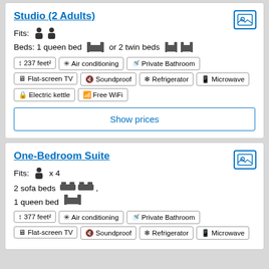Studio (2 Adults)
Fits: 2 persons
Beds: 1 queen bed or 2 twin beds
237 feet²
Air conditioning
Private Bathroom
Flat-screen TV
Soundproof
Refrigerator
Microwave
Electric kettle
Free WiFi
Show prices
One-Bedroom Suite
Fits: 1 person x 4
2 sofa beds , 1 queen bed
377 feet²
Air conditioning
Private Bathroom
Flat-screen TV
Soundproof
Refrigerator
Microwave